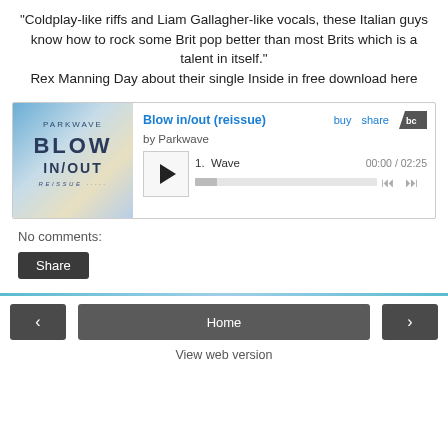"Coldplay-like riffs and Liam Gallagher-like vocals, these Italian guys know how to rock some Brit pop better than most Brits which is a talent in itself." Rex Manning Day about their single Inside in free download here
[Figure (screenshot): Bandcamp embedded music player showing album 'Blow in/out (reissue)' by Parkwave. Includes album art with blue/yellow gradient, play button, track '1. Wave' with timestamp 00:00 / 02:25, progress bar, buy, share links, and Bandcamp logo.]
No comments:
Share
‹   Home   › View web version